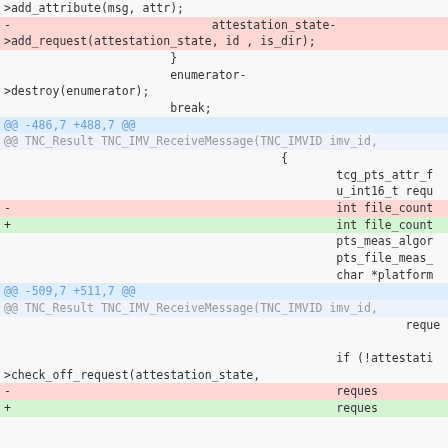Code diff showing changes to TNC_IMV_ReceiveMessage function with additions and removals related to attestation state, file count, and request handling
[Figure (screenshot): A code diff view showing removed lines (red background), added lines (green background), context lines (blue/grey background), and normal code lines. Shows changes around lines -486,7 +488,7 and -509,7 +511,7 in a C source file.]